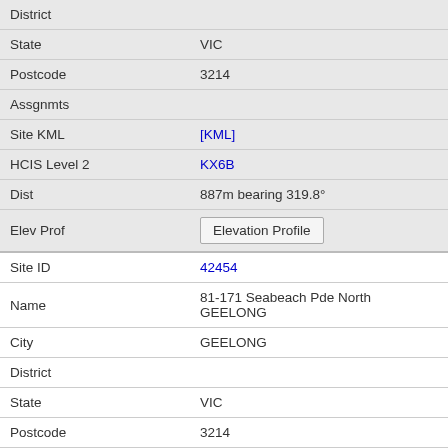| Field | Value |
| --- | --- |
| District |  |
| State | VIC |
| Postcode | 3214 |
| Assgnmts |  |
| Site KML | [KML] |
| HCIS Level 2 | KX6B |
| Dist | 887m bearing 319.8° |
| Elev Prof | Elevation Profile |
| Site ID | 42454 |
| Name | 81-171 Seabeach Pde North GEELONG |
| City | GEELONG |
| District |  |
| State | VIC |
| Postcode | 3214 |
| Assgnmts |  |
| Site KML | [KML] |
| HCIS Level 2 | KX6B |